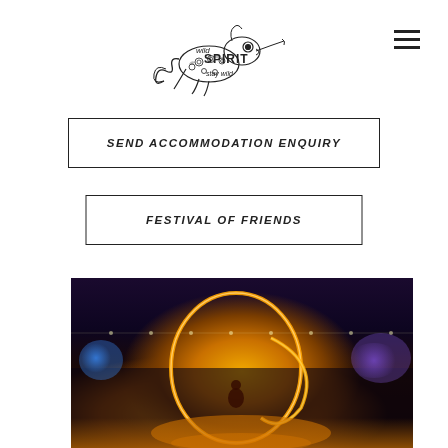[Figure (logo): Wild Spirit 'stay wild' chameleon logo in black ink illustration style]
SEND ACCOMMODATION ENQUIRY
FESTIVAL OF FRIENDS
[Figure (photo): Night time festival photo showing a fire spinner performing with glowing fire rings on a dark outdoor ground, crowd watching in background with blue and purple lights, warm orange glow from fire illuminating the ground]